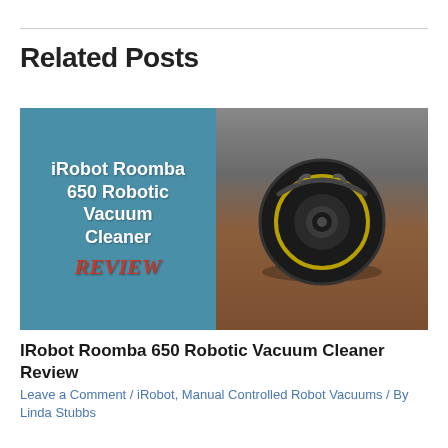Related Posts
[Figure (photo): Promotional image for iRobot Roomba 650 Robotic Vacuum Cleaner Review. Left half shows teal background with white bold text 'iRobot Roomba 650 Robotic Vacuum Cleaner' and red italic 'REVIEW'. Right half shows a black circular Roomba robot vacuum on wooden floor.]
IRobot Roomba 650 Robotic Vacuum Cleaner Review
Leave a Comment / iRobot, Manual Controlled Robot Vacuums / By Linda Stubbs